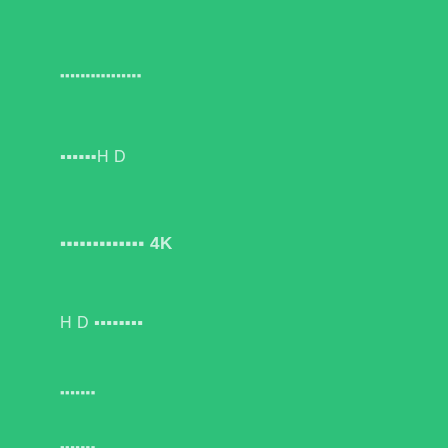▪▪▪▪▪▪▪▪▪▪▪▪▪▪▪▪
▪▪▪▪▪▪HD
▪▪▪▪▪▪▪▪▪▪▪▪▪ 4K
HD ▪▪▪▪▪▪▪▪
▪▪▪▪▪▪▪
▪▪▪▪▪▪▪
▪▪▪▪▪▪▪▪
▪▪▪▪▪▪▪▪▪▪
▪▪▪▪▪▪▪▪▪▪▪▪